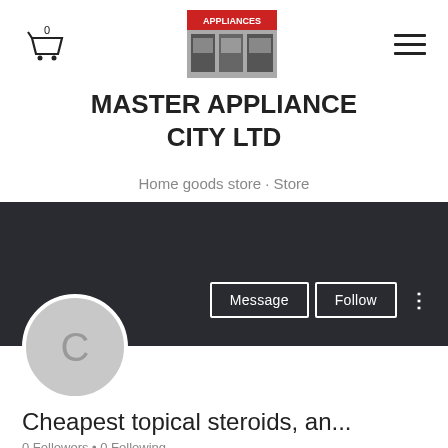[Figure (screenshot): Navigation bar with cart icon (0 items), store logo image, and hamburger menu icon]
MASTER APPLIANCE CITY LTD
Home goods store · Store
[Figure (screenshot): Dark banner with profile avatar circle showing letter C, Message button, Follow button, and three-dot menu]
Cheapest topical steroids, an...
0 Followers • 0 Following